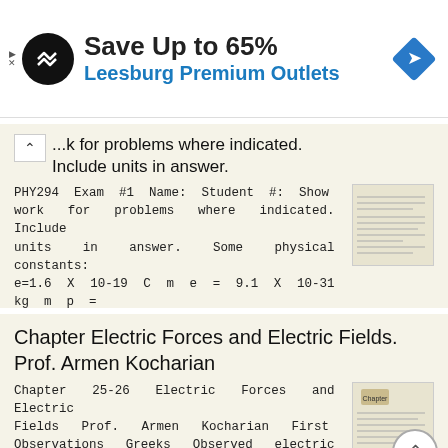[Figure (infographic): Advertisement banner: Save Up to 65% Leesburg Premium Outlets with logo and navigation icon]
...k for problems where indicated. Include units in answer.
PHY294 Exam #1 Name: Student #: Show work for problems where indicated. Include units in answer. Some physical constants: e=1.6 X 10-19 C m e = 9.1 X 10-31 kg m p = 1.67 X 10-27 kg g = 9.83 N/kg ε o =
More information →
Chapter Electric Forces and Electric Fields. Prof. Armen Kocharian
Chapter 25-26 Electric Forces and Electric Fields Prof. Armen Kocharian First Observations Greeks Observed electric and